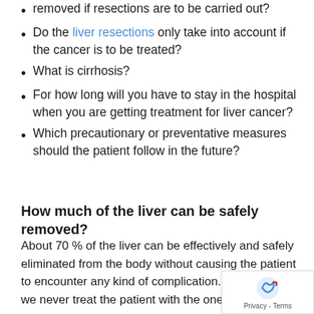removed if resections are to be carried out?
Do the liver resections only take into account if the cancer is to be treated?
What is cirrhosis?
For how long will you have to stay in the hospital when you are getting treatment for liver cancer?
Which precautionary or preventative measures should the patient follow in the future?
How much of the liver can be safely removed?
About 70 % of the liver can be effectively and safely eliminated from the body without causing the patient to encounter any kind of complications. In our hospital we never treat the patient with the one